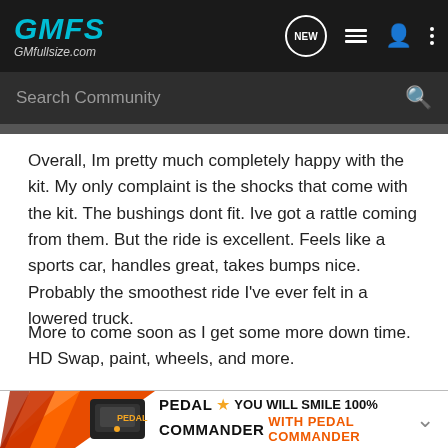GMFS GMfullsize.com
Search Community
Overall, Im pretty much completely happy with the kit. My only complaint is the shocks that come with the kit. The bushings dont fit. Ive got a rattle coming from them. But the ride is excellent. Feels like a sports car, handles great, takes bumps nice. Probably the smoothest ride I've ever felt in a lowered truck.
More to come soon as I get some more down time. HD Swap, paint, wheels, and more.
[Figure (infographic): Pedal Commander advertisement banner with orange arrow graphic, pedal device image, PEDAL COMMANDER logo with star, text: YOU WILL SMILE 100% WITH PEDAL COMMANDER]